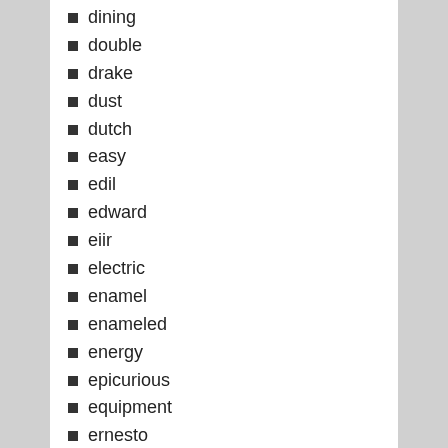dining
double
drake
dust
dutch
easy
edil
edward
eiir
electric
enamel
enameled
energy
epicurious
equipment
ernesto
extremely
fallen
filet
fill-rite
final